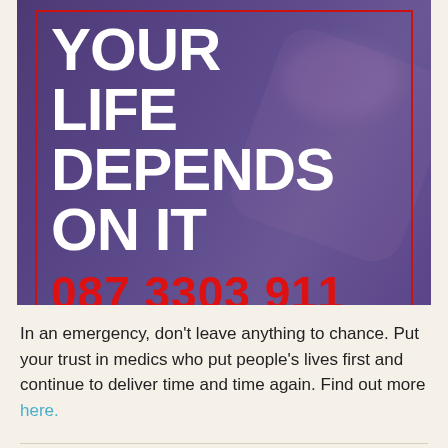[Figure (infographic): Emergency medical services advertisement with purple/blue overlay on ambulance background. Large bold white text reads 'YOUR LIFE DEPENDS ON IT' inside a red border box, with a large red phone number '087 3303 911' below it.]
In an emergency, don't leave anything to chance. Put your trust in medics who put people's lives first and continue to deliver time and time again. Find out more here.
THINGS WE LOVE